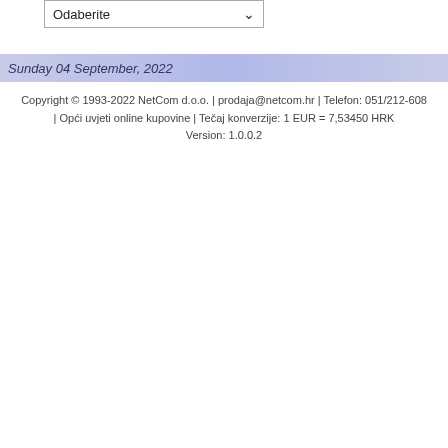[Figure (screenshot): Dropdown select box with label 'Odaberite' and a down arrow]
Sunday 04 September, 2022
Copyright © 1993-2022 NetCom d.o.o. | prodaja@netcom.hr | Telefon: 051/212-608 | Opći uvjeti online kupovine | Tečaj konverzije: 1 EUR = 7,53450 HRK Version: 1.0.0.2